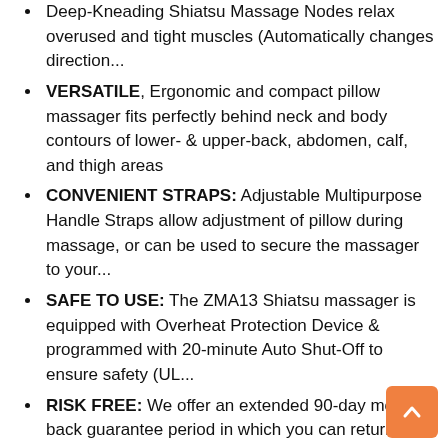Deep-Kneading Shiatsu Massage Nodes relax overused and tight muscles (Automatically changes direction...
VERSATILE, Ergonomic and compact pillow massager fits perfectly behind neck and body contours of lower- & upper-back, abdomen, calf, and thigh areas
CONVENIENT STRAPS: Adjustable Multipurpose Handle Straps allow adjustment of pillow during massage, or can be used to secure the massager to your...
SAFE TO USE: The ZMA13 Shiatsu massager is equipped with Overheat Protection Device & programmed with 20-minute Auto Shut-Off to ensure safety (UL...
RISK FREE: We offer an extended 90-day money back guarantee period in which you can return your massager for any reason. We will even pay for your...